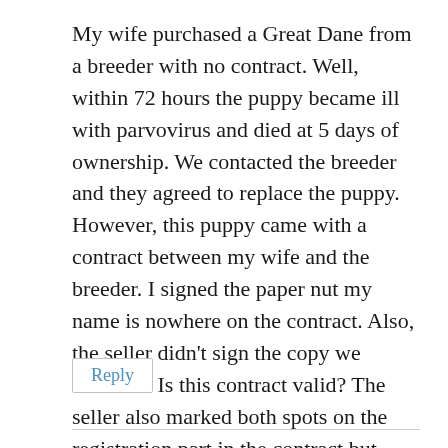My wife purchased a Great Dane from a breeder with no contract. Well, within 72 hours the puppy became ill with parvovirus and died at 5 days of ownership. We contacted the breeder and they agreed to replace the puppy. However, this puppy came with a contract between my wife and the breeder. I signed the paper nut my name is nowhere on the contract. Also, the seller didn't sign the copy we received. Is this contract valid? The seller also marked both spots on the registration part in the contract but refused to give us the AKC papers.
Reply